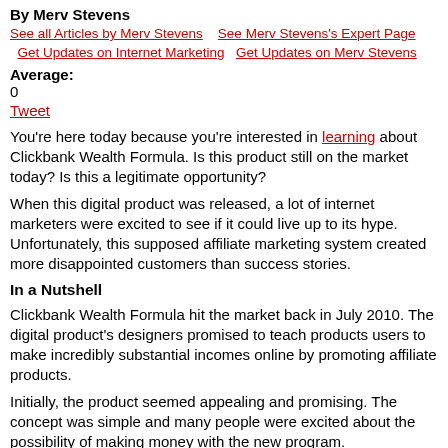By Merv Stevens
See all Articles by Merv Stevens    See Merv Stevens's Expert Page    Get Updates on Internet Marketing    Get Updates on Merv Stevens
Average: 0
Tweet
You're here today because you're interested in learning about Clickbank Wealth Formula. Is this product still on the market today? Is this a legitimate opportunity?
When this digital product was released, a lot of internet marketers were excited to see if it could live up to its hype. Unfortunately, this supposed affiliate marketing system created more disappointed customers than success stories.
In a Nutshell
Clickbank Wealth Formula hit the market back in July 2010. The digital product's designers promised to teach products users to make incredibly substantial incomes online by promoting affiliate products.
Initially, the product seemed appealing and promising. The concept was simple and many people were excited about the possibility of making money with the new program.
This is the Clickbank Wealth Formula in its most simplistic form: